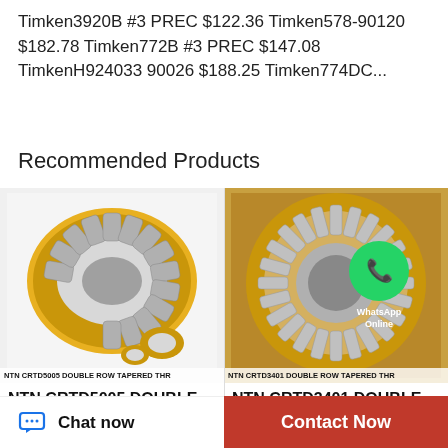Timken3920B #3 PREC $122.36 Timken578-90120 $182.78 Timken772B #3 PREC $147.08 TimkenH924033 90026 $188.25 Timken774DC...
Recommended Products
[Figure (photo): NTN CRTD5005 double row tapered thrust bearing product photo - gold and silver metallic bearing components on white background]
NTN CRTD5005 DOUBLE ROW TAPERED THR
NTN CRTD5005 DOUBLE ROW TAPERED THRU
[Figure (photo): NTN CRTD3401 double row tapered thrust bearing product photo - circular bearing with WhatsApp Online overlay icon]
NTN CRTD3401 DOUBLE ROW TAPERED THR
NTN CRTD3401 DOUBLE ROW TAPERED THRU
Chat now
Contact Now